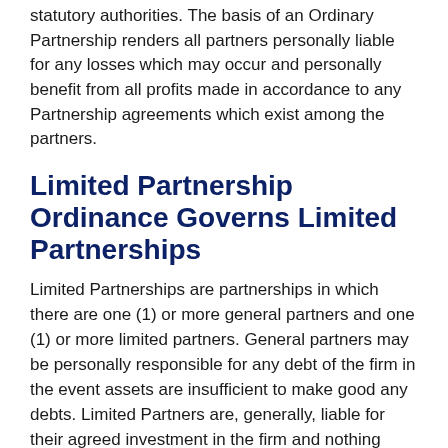statutory authorities. The basis of an Ordinary Partnership renders all partners personally liable for any losses which may occur and personally benefit from all profits made in accordance to any Partnership agreements which exist among the partners.
Limited Partnership Ordinance Governs Limited Partnerships
Limited Partnerships are partnerships in which there are one (1) or more general partners and one (1) or more limited partners. General partners may be personally responsible for any debt of the firm in the event assets are insufficient to make good any debts. Limited Partners are, generally, liable for their agreed investment in the firm and nothing more.